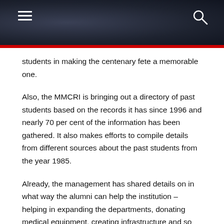students in making the centenary fete a memorable one.
Also, the MMCRI is bringing out a directory of past students based on the records it has since 1996 and nearly 70 per cent of the information has been gathered. It also makes efforts to compile details from different sources about the past students from the year 1985.
Already, the management has shared details on in what way the alumni can help the institution – helping in expanding the departments, donating medical equipment, creating infrastructure and so on. The association would be communicating with the past students through its network as the MMCRI cannot receive the funds directly. The help can either be extended through the association or directly from the past students.